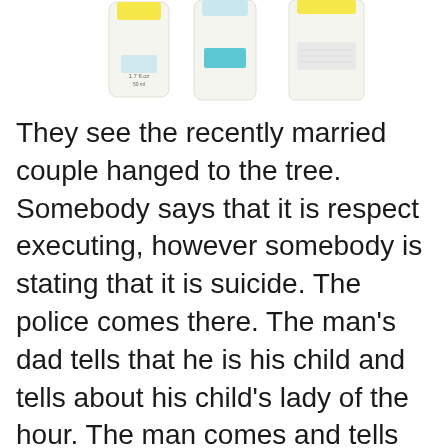[Figure (photo): Three product bottles/containers with yellow and teal accents on a white background, partially visible at top of page]
They see the recently married couple hanged to the tree. Somebody says that it is respect executing, however somebody is stating that it is suicide. The police comes there. The man's dad tells that he is his child and tells about his child's lady of the hour. The man comes and tells that it is the respect executing. Investigator finds the gold chain and keeps his leg on the chain. He goes to the Sanatan degree school. Educator Pujan Pandey is giving the introduction to the understudies and says he is the leader of the material science dept.
One of the understudies sees the weapon hanging before his gaze. He says there are